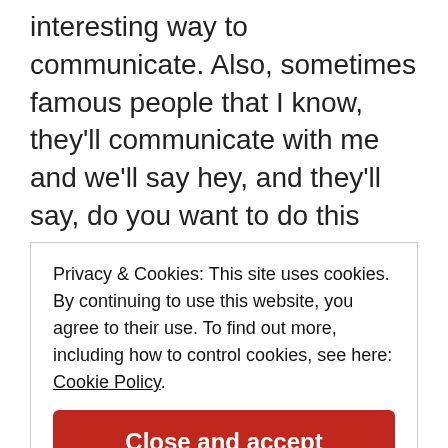interesting way to communicate. Also, sometimes famous people that I know, they'll communicate with me and we'll say hey, and they'll say, do you want to do this charity, and I'll say, oh, sure. And it's a really good way to communicate, I think, at least right now for me.
Kathryn might be the best mom on TV right now as far as what's realistic, but also she's
Privacy & Cookies: This site uses cookies. By continuing to use this website, you agree to their use. To find out more, including how to control cookies, see here: Cookie Policy
Close and accept
I think she really tries to open up her mind and